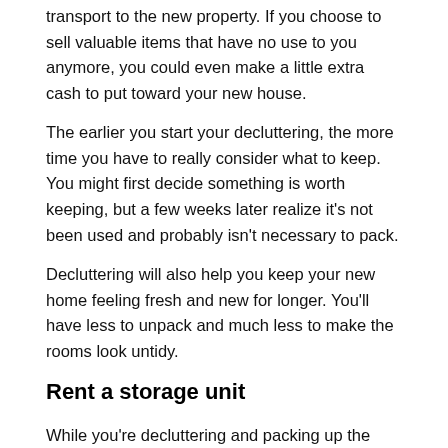transport to the new property. If you choose to sell valuable items that have no use to you anymore, you could even make a little extra cash to put toward your new house.
The earlier you start your decluttering, the more time you have to really consider what to keep. You might first decide something is worth keeping, but a few weeks later realize it's not been used and probably isn't necessary to pack.
Decluttering will also help you keep your new home feeling fresh and new for longer. You'll have less to unpack and much less to make the rooms look untidy.
Rent a storage unit
While you're decluttering and packing up the house, you still want to be able to enjoy your space. Renting a storage unit from storagearea.com gives you the room you need to get all the boxes out of your house while you wait for a move-in date.
Storage units are also great if you're looking to downsize, as furniture and other items can be stored away outside the